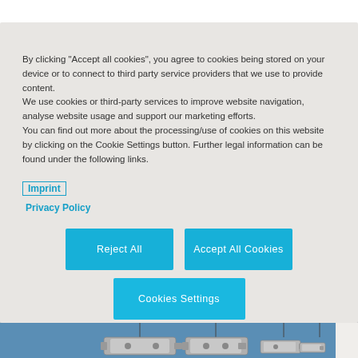By clicking "Accept all cookies", you agree to cookies being stored on your device or to connect to third party service providers that we use to provide content.
We use cookies or third-party services to improve website navigation, analyse website usage and support our marketing efforts.
You can find out more about the processing/use of cookies on this website by clicking on the Cookie Settings button. Further legal information can be found under the following links.
Imprint
Privacy Policy
Reject All
Accept All Cookies
Cookies Settings
[Figure (illustration): Industrial motors/actuators hanging from cables against a blue background, with vertical sidebar text reading 'actuators/sensor level – electromechanics']